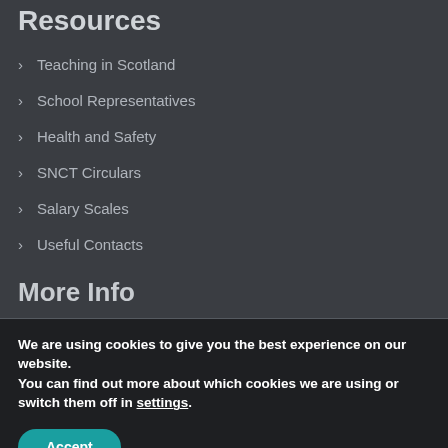Resources
Teaching in Scotland
School Representatives
Health and Safety
SNCT Circulars
Salary Scales
Useful Contacts
More Info
We are using cookies to give you the best experience on our website.
You can find out more about which cookies we are using or switch them off in settings.
Accept